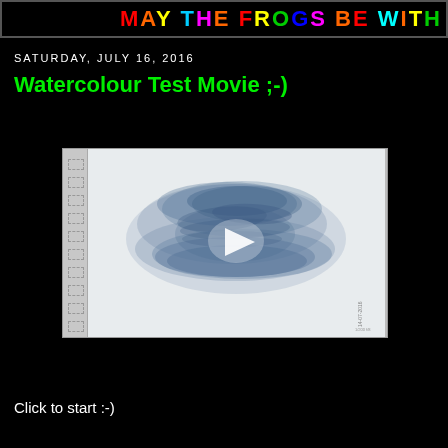MAY THE FROGS BE WITH
SATURDAY, JULY 16, 2016
Watercolour Test Movie ;-)
[Figure (screenshot): Video thumbnail showing a watercolour painting of blue brushstrokes on white paper, with a white play button triangle in the center. A film strip edge is visible on the left side.]
Click to start :-)